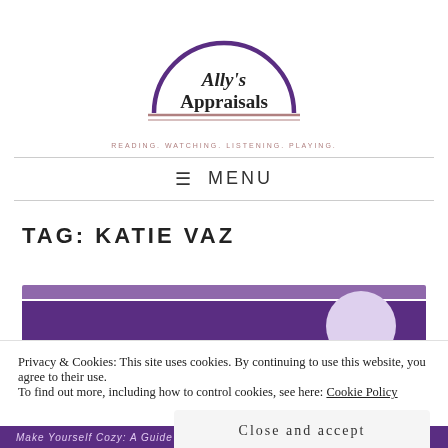[Figure (logo): Ally's Appraisals logo — semicircle arch with text 'Ally's Appraisals' inside]
READING. WATCHING. LISTENING. PLAYING.
≡ MENU
TAG: KATIE VAZ
[Figure (screenshot): Purple blog post card header with circle element]
Privacy & Cookies: This site uses cookies. By continuing to use this website, you agree to their use.
To find out more, including how to control cookies, see here: Cookie Policy
Close and accept
Make Yourself Cozy: A Guide